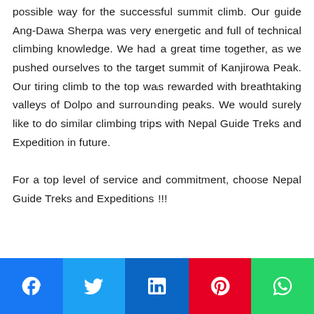possible way for the successful summit climb. Our guide Ang-Dawa Sherpa was very energetic and full of technical climbing knowledge. We had a great time together, as we pushed ourselves to the target summit of Kanjirowa Peak. Our tiring climb to the top was rewarded with breathtaking valleys of Dolpo and surrounding peaks. We would surely like to do similar climbing trips with Nepal Guide Treks and Expedition in future.

For a top level of service and commitment, choose Nepal Guide Treks and Expeditions !!!
[Figure (other): Social media sharing bar with icons for Facebook, Twitter, LinkedIn, Pinterest, and WhatsApp]